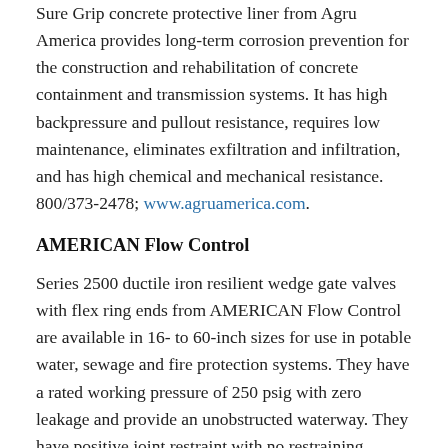Sure Grip concrete protective liner from Agru America provides long-term corrosion prevention for the construction and rehabilitation of concrete containment and transmission systems. It has high backpressure and pullout resistance, requires low maintenance, eliminates exfiltration and infiltration, and has high chemical and mechanical resistance. 800/373-2478; www.agruamerica.com.
AMERICAN Flow Control
Series 2500 ductile iron resilient wedge gate valves with flex ring ends from AMERICAN Flow Control are available in 16- to 60-inch sizes for use in potable water, sewage and fire protection systems. They have a rated working pressure of 250 psig with zero leakage and provide an unobstructed waterway. They have positive joint restraint with no restraining hardware. They have no point loads and require no